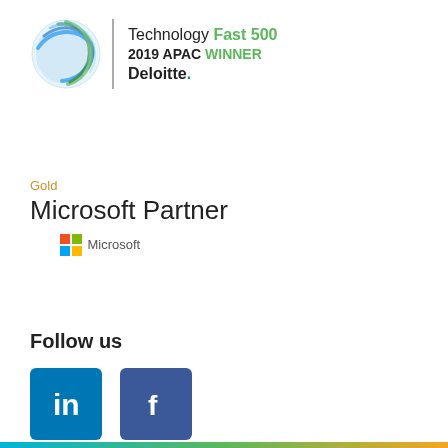[Figure (logo): Deloitte Technology Fast 500 2019 APAC Winner badge with globe icon and vertical divider line]
[Figure (logo): Gold Microsoft Partner logo with Microsoft four-color squares and wordmark]
Follow us
[Figure (logo): LinkedIn social media icon (white 'in' on teal-blue square) and Facebook social media icon (white 'f' on dark blue square)]